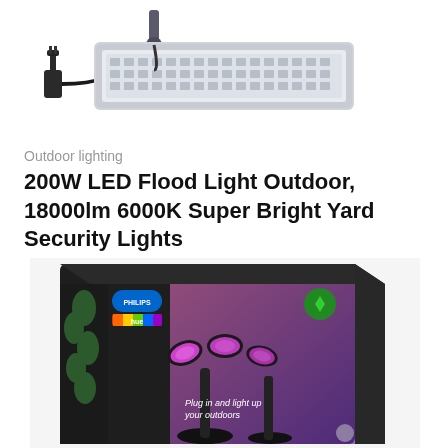[Figure (photo): LED flood light product photo, partially cropped at top, showing a wide flat rectangular flood light fixture with mounting bracket and power cord on a white background]
Outdoor lighting
200W LED Flood Light Outdoor, 18000lm 6000K Super Bright Yard Security Lights
[Figure (photo): Philips Hue outdoor spotlight product box, dark packaging showing two pink/magenta spotlights on a stand, with Philips Hue logo and text 'Plug in and light up your outdoors', partially cropped at the bottom]